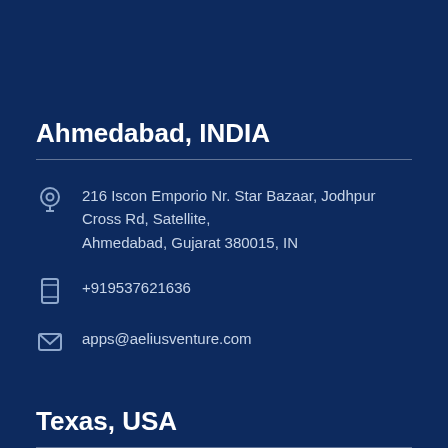Ahmedabad, INDIA
216 Iscon Emporio Nr. Star Bazaar, Jodhpur Cross Rd, Satellite, Ahmedabad, Gujarat 380015, IN
+919537621636
apps@aeliusventure.com
Texas, USA